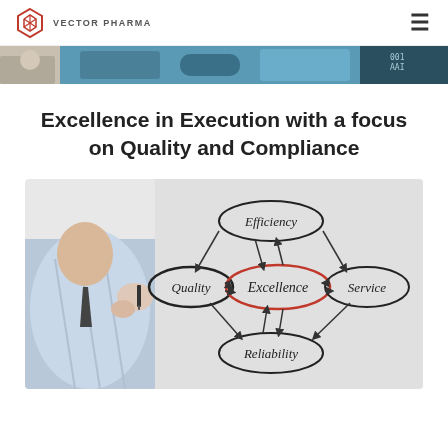VECTOR PHARMA
[Figure (photo): Partial banner/hero image strip showing a person and abstract background]
Excellence in Execution with a focus on Quality and Compliance
[Figure (photo): Business person drawing a diagram showing ovals labeled Quality, Efficiency, Excellence (in red), Service, and Reliability with arrows pointing to central Excellence oval]